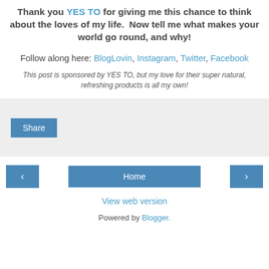Thank you YES TO for giving me this chance to think about the loves of my life.  Now tell me what makes your world go round, and why!
Follow along here: BlogLovin, Instagram, Twitter, Facebook
This post is sponsored by YES TO, but my love for their super natural, refreshing products is all my own!
[Figure (other): Share button area with gray background and a blue Share button]
< Home >
View web version
Powered by Blogger.